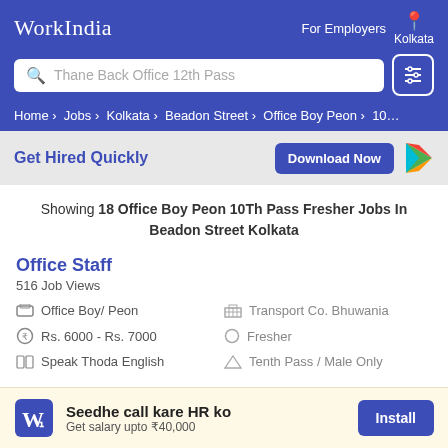WorkIndia | For Employers | Kolkata
Thane Back Office 12th Pass (search bar)
Home › Jobs › Kolkata › Beadon Street › Office Boy Peon › 10
Get Hired Quickly | Download Now
Showing 18 Office Boy Peon 10Th Pass Fresher Jobs In Beadon Street Kolkata
Office Staff
516 Job Views
Office Boy/ Peon
Transport Co. Bhuwania
Rs. 6000 - Rs. 7000
Fresher
Speak Thoda English
Tenth Pass / Male Only
Seedhe call kare HR ko | Get salary upto ₹40,000 | Install